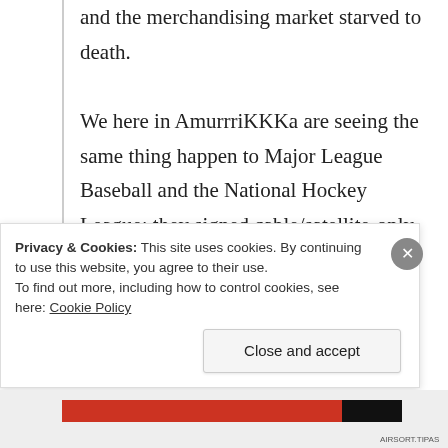and the merchandising market starved to death.

We here in AmurrriKKKa are seeing the same thing happen to Major League Baseball and the National Hockey League: they signed cable/satellite-only broadcast deals with Fox (hah, imagine that!), and the viewership numbers have collapsed to near nothing. And it affects the game attendances as well: if you can't follow your team easily, you eventually forgo that team altogether, to the point of finding something else
Privacy & Cookies: This site uses cookies. By continuing to use this website, you agree to their use.
To find out more, including how to control cookies, see here: Cookie Policy
Close and accept